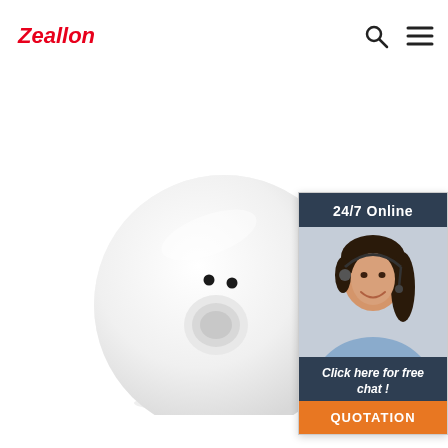Zeallon
Get Price
[Figure (photo): White rounded PIR motion sensor device photographed from above on white background]
[Figure (photo): Customer service representative woman with headset smiling]
24/7 Online
Click here for free chat !
QUOTATION